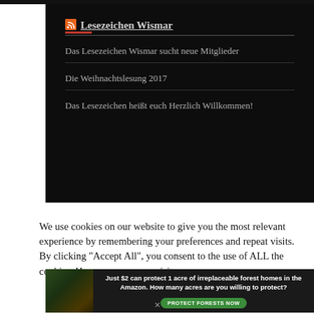[Figure (screenshot): Dark background widget box for 'Lesezeichen Wismar' with RSS icon, title link, red accent line, and three navigation links separated by dividers]
We use cookies on our website to give you the most relevant experience by remembering your preferences and repeat visits. By clicking "Accept All", you consent to the use of ALL the cookies. However, you may visit
[Figure (infographic): Advertisement banner with dark background, forest image on left, text 'Just $2 can protect 1 acre of irreplaceable forest homes in the Amazon. How many acres are you willing to protect?' and green 'PROTECT FORESTS NOW' button]